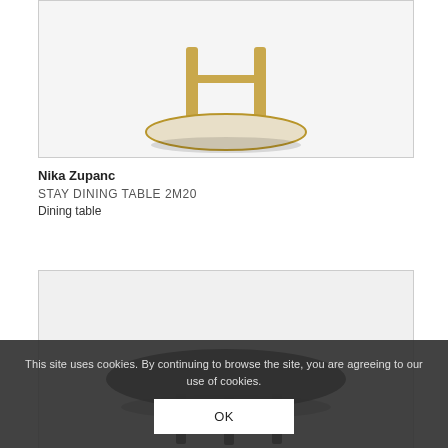[Figure (photo): Close-up product photo of a dining table base with gold/brass colored metal legs and an oval white/cream tabletop base, shown against white background]
Nika Zupanc
STAY DINING TABLE 2M20
Dining table
[Figure (photo): Product photo of a dark/black round dining table with dark metal legs, partially visible, shown against light gray background]
This site uses cookies. By continuing to browse the site, you are agreeing to our use of cookies.
OK